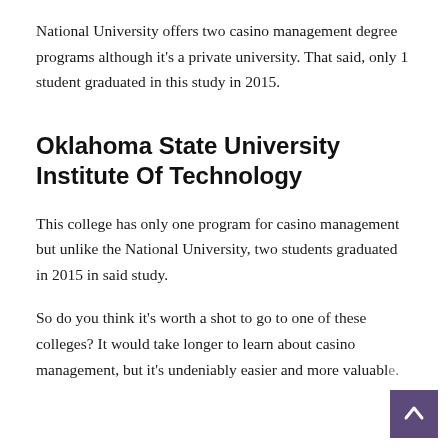National University offers two casino management degree programs although it's a private university. That said, only 1 student graduated in this study in 2015.
Oklahoma State University Institute Of Technology
This college has only one program for casino management but unlike the National University, two students graduated in 2015 in said study.
So do you think it's worth a shot to go to one of these colleges? It would take longer to learn about casino management, but it's undeniably easier and more valuable.